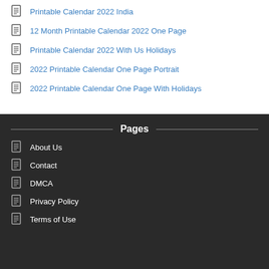Printable Calendar 2022 India
12 Month Printable Calendar 2022 One Page
Printable Calendar 2022 With Us Holidays
2022 Printable Calendar One Page Portrait
2022 Printable Calendar One Page With Holidays
Pages
About Us
Contact
DMCA
Privacy Policy
Terms of Use